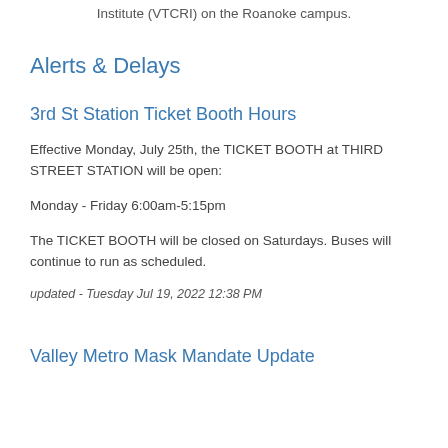Institute (VTCRI) on the Roanoke campus.
Alerts & Delays
3rd St Station Ticket Booth Hours
Effective Monday, July 25th, the TICKET BOOTH at THIRD STREET STATION will be open:
Monday - Friday 6:00am-5:15pm
The TICKET BOOTH will be closed on Saturdays. Buses will continue to run as scheduled.
updated - Tuesday Jul 19, 2022 12:38 PM
Valley Metro Mask Mandate Update